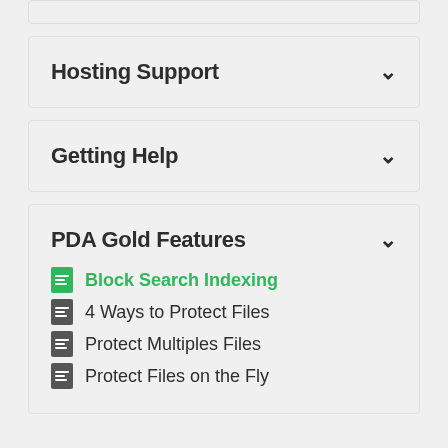Hosting Support
Getting Help
PDA Gold Features
Block Search Indexing
4 Ways to Protect Files
Protect Multiples Files
Protect Files on the Fly